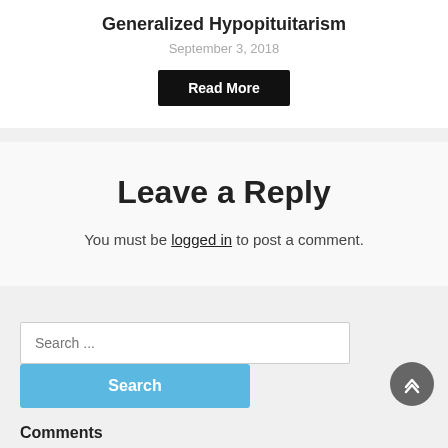Generalized Hypopituitarism
September 3, 2018
Read More
Leave a Reply
You must be logged in to post a comment.
Search ...
Search
Comments